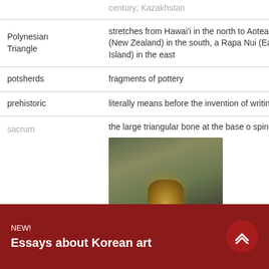| Term | Definition |
| --- | --- |
|  | century; Kazakhstan |
| Polynesian Triangle | stretches from Hawai'i in the north to Aotearoa (New Zealand) in the south, a Rapa Nui (Easter Island) in the east |
| potsherds | fragments of pottery |
| prehistoric | literally means before the invention of writing |
| sacrum | the large triangular bone at the base of the spine |
[Figure (photo): Photograph of a sacrum bone (large triangular bone) shown against a dark greenish background]
NEW!
Essays about Korean art